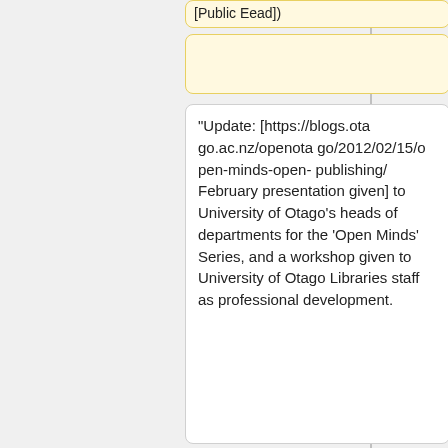[Public Eead])
"Update: [https://blogs.otago.ac.nz/openotago/2012/02/15/open-minds-open-publishing/ February presentation given] to University of Otago's heads of departments for the 'Open Minds' Series, and a workshop given to University of Otago Libraries staff as professional development.
"Update: [https://blogs.otago.ac.nz/openotago/2012/02/15/open-minds-open-publishing/ February presentation given] to University of Otago's heads of departments for the 'Open Minds' Series, and a workshop given to University of Otago Libraries staff as professional development.